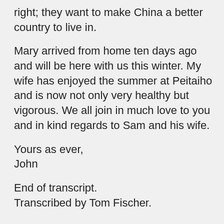right; they want to make China a better country to live in.
Mary arrived from home ten days ago and will be here with us this winter. My wife has enjoyed the summer at Peitaiho and is now not only very healthy but vigorous. We all join in much love to you and in kind regards to Sam and his wife.
Yours as ever,
John
End of transcript.
Transcribed by Tom Fischer.